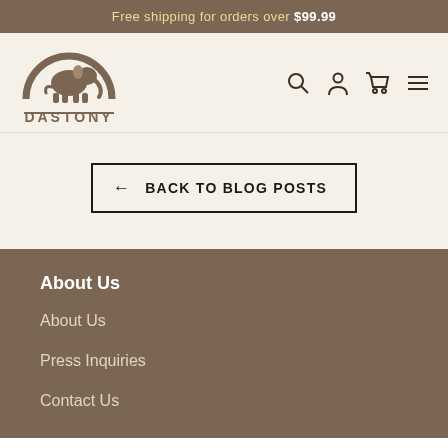Free shipping for orders over $99.99
[Figure (logo): Dastony brand logo with elephant silhouette under an arch, text DASTONY below]
← BACK TO BLOG POSTS
About Us
About Us
Press Inquiries
Contact Us